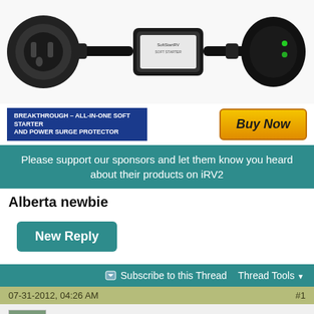[Figure (photo): SoftStartRV product ad showing an electrical cable/soft starter device with a blue badge reading 'BREAKTHROUGH - ALL-IN-ONE SOFT STARTER AND POWER SURGE PROTECTOR' and an orange 'Buy Now' button]
Please support our sponsors and let them know you heard about their products on iRV2
Alberta newbie
New Reply
Subscribe to this Thread   Thread Tools
07-31-2012, 04:26 AM   #1
mrbeautie   Join Date: Jul 2012   Posts: 40
Alberta newbie
We live on an acreage located in Rocky View County, 10 minutes west of Calgary, if any of you guys or gals are coming out this way let me know and I will try to direct you to the wonderful sites in and around this area. I'm 58 years old and work as a Plumbing and Gas